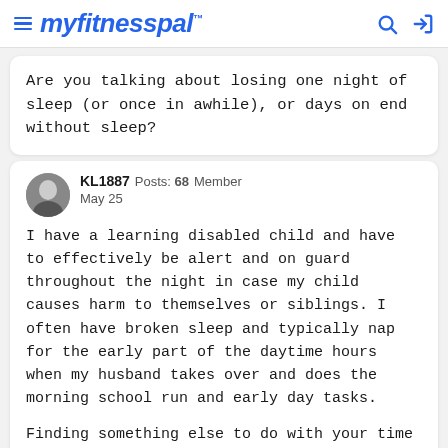myfitnesspal
Are you talking about losing one night of sleep (or once in awhile), or days on end without sleep?
KL1887   Posts: 68   Member
May 25

I have a learning disabled child and have to effectively be alert and on guard throughout the night in case my child causes harm to themselves or siblings. I often have broken sleep and typically nap for the early part of the daytime hours when my husband takes over and does the morning school run and early day tasks.

Finding something else to do with your time than snacking to keep yourself awake is a good start.